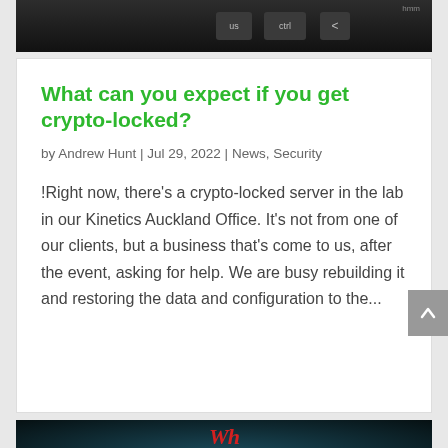[Figure (photo): Dark keyboard keys partial view at top of page]
What can you expect if you get crypto-locked?
by Andrew Hunt | Jul 29, 2022 | News, Security
!Right now, there's a crypto-locked server in the lab in our Kinetics Auckland Office. It's not from one of our clients, but a business that's come to us, after the event, asking for help. We are busy rebuilding it and restoring the data and configuration to the...
[Figure (photo): Dark background image with teal/cyan colored sneaker and red stylized 'Wh' text overlay at bottom of page]